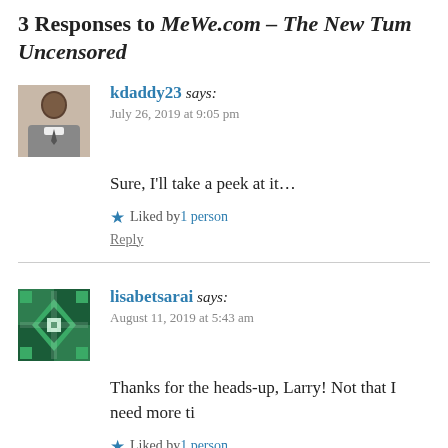3 Responses to MeWe.com – The New Tumblr Uncensored
[Figure (photo): Avatar photo of kdaddy23, a man in a grey suit jacket]
kdaddy23 says: July 26, 2019 at 9:05 pm
Sure, I'll take a peek at it…
★ Liked by 1 person
Reply
[Figure (logo): Avatar of lisabetsarai, green and white geometric/quilt pattern]
lisabetsarai says: August 11, 2019 at 5:43 am
Thanks for the heads-up, Larry! Not that I need more ti
★ Liked by 1 person
Reply